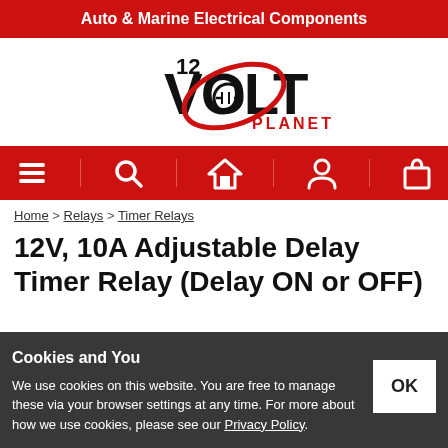Auto & Marine Electrical Components
[Figure (logo): 12 Volt Planet logo — bold black text '12VOLT' with red orbital ellipse around a circuit symbol, 'PLANET' in red below]
[Figure (infographic): Red navigation bar with white icons: hamburger menu, search magnifier, home/house, person/account, shopping bag]
Home > Relays > Timer Relays
12V, 10A Adjustable Delay Timer Relay (Delay ON or OFF)
Cookies and You
We use cookies on this website. You are free to manage these via your browser settings at any time. For more about how we use cookies, please see our Privacy Policy.